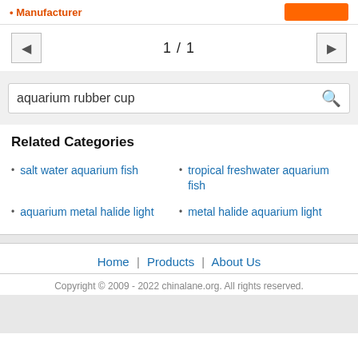Manufacturer
1 / 1
aquarium rubber cup
Related Categories
salt water aquarium fish
tropical freshwater aquarium fish
aquarium metal halide light
metal halide aquarium light
Home | Products | About Us
Copyright © 2009 - 2022 chinalane.org. All rights reserved.